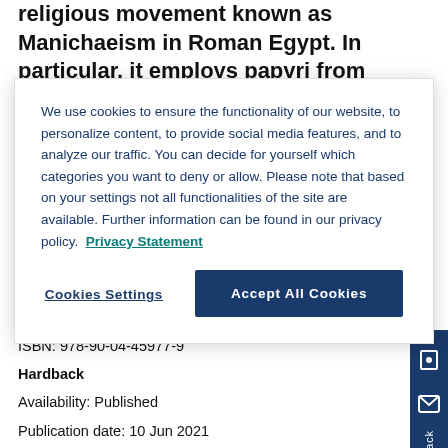religious movement known as Manichaeism in Roman Egypt. In particular, it employs papyri from
We use cookies to ensure the functionality of our website, to personalize content, to provide social media features, and to analyze our traffic. You can decide for yourself which categories you want to deny or allow. Please note that based on your settings not all functionalities of the site are available. Further information can be found in our privacy policy. Privacy Statement
Cookies Settings
Accept All Cookies
ISBN:  978-90-04-45977-9
Hardback
Availability:  Published
Publication date:  10 Jun 2021
Copyright Date:  01 Jan 2021
ISBN:  978-90-04-45976-2
List price